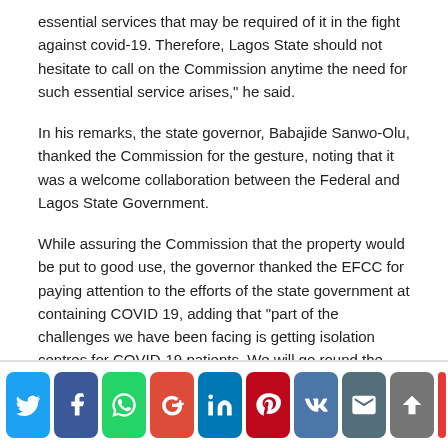essential services that may be required of it in the fight against covid-19. Therefore, Lagos State should not hesitate to call on the Commission anytime the need for such essential service arises," he said.
In his remarks, the state governor, Babajide Sanwo-Olu, thanked the Commission for the gesture, noting that it was a welcome collaboration between the Federal and Lagos State Government.
While assuring the Commission that the property would be put to good use, the governor thanked the EFCC for paying attention to the efforts of the state government at containing COVID 19, adding that “part of the challenges we have been facing is getting isolation centres for COVID-19 patients. We will go round the facility to see what we can do to improve on it.”
[Figure (infographic): Social media sharing buttons: Twitter, Facebook, WhatsApp, Google+, LinkedIn, Pinterest, VK, Email, scroll-to-top]